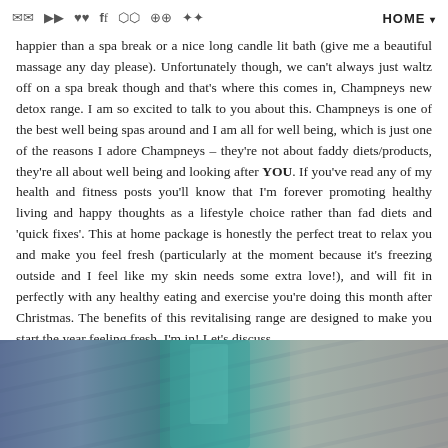[icons: email, youtube, heart, facebook, instagram, pinterest, twitter] HOME ▾
happier than a spa break or a nice long candle lit bath (give me a beautiful massage any day please). Unfortunately though, we can't always just waltz off on a spa break though and that's where this comes in, Champneys new detox range. I am so excited to talk to you about this. Champneys is one of the best well being spas around and I am all for well being, which is just one of the reasons I adore Champneys – they're not about faddy diets/products, they're all about well being and looking after YOU. If you've read any of my health and fitness posts you'll know that I'm forever promoting healthy living and happy thoughts as a lifestyle choice rather than fad diets and 'quick fixes'. This at home package is honestly the perfect treat to relax you and make you feel fresh (particularly at the moment because it's freezing outside and I feel like my skin needs some extra love!), and will fit in perfectly with any healthy eating and exercise you're doing this month after Christmas. The benefits of this revitalising range are designed to make you start the year feeling fresh. I'm in! Let's discuss…
[Figure (photo): Photo of Champneys detox range products — appears to show a teal/green tube and packaging on a surface, partially visible at the bottom of the page.]